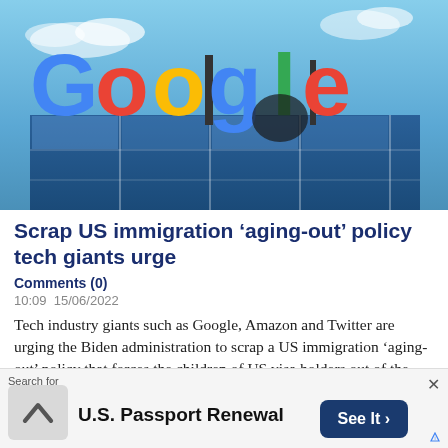[Figure (photo): Google sign/logo on a building exterior against a blue sky. Large colorful 3D Google letters in blue, red, yellow, green colors mounted on a modern glass building facade.]
Scrap US immigration ‘aging-out’ policy tech giants urge
Comments (0)
10:09  15/06/2022
Tech industry giants such as Google, Amazon and Twitter are urging the Biden administration to scrap a US immigration ‘aging-out’ policy that forces the children of US visa holders out of the country...
Search for
U.S. Passport Renewal
See It >